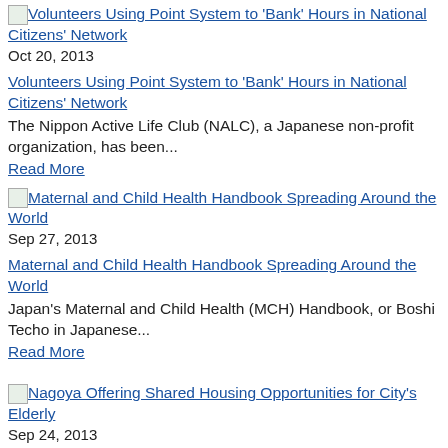[Figure (other): Thumbnail image link for article: Volunteers Using Point System to 'Bank' Hours in National Citizens' Network]
Oct 20, 2013
Volunteers Using Point System to 'Bank' Hours in National Citizens' Network
The Nippon Active Life Club (NALC), a Japanese non-profit organization, has been...
Read More
[Figure (other): Thumbnail image link for article: Maternal and Child Health Handbook Spreading Around the World]
Sep 27, 2013
Maternal and Child Health Handbook Spreading Around the World
Japan's Maternal and Child Health (MCH) Handbook, or Boshi Techo in Japanese...
Read More
[Figure (other): Thumbnail image link for article: Nagoya Offering Shared Housing Opportunities for City's Elderly]
Sep 24, 2013
Nagoya Offering Shared Housing Opportunities for City's Elderly